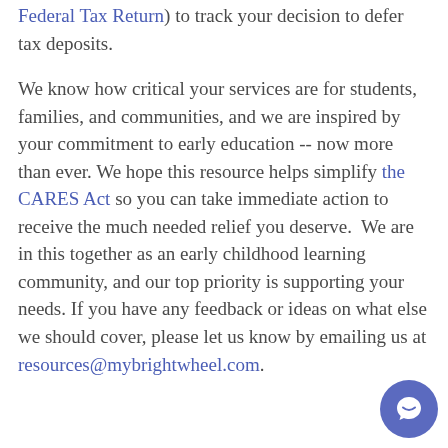Federal Tax Return) to track your decision to defer tax deposits.

We know how critical your services are for students, families, and communities, and we are inspired by your commitment to early education -- now more than ever. We hope this resource helps simplify the CARES Act so you can take immediate action to receive the much needed relief you deserve.  We are in this together as an early childhood learning community, and our top priority is supporting your needs. If you have any feedback or ideas on what else we should cover, please let us know by emailing us at resources@mybrightwheel.com.